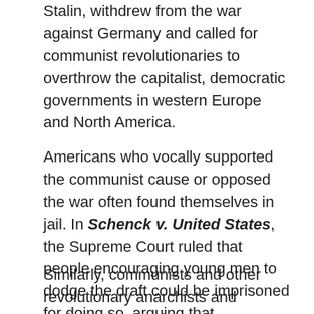Stalin, withdrew from the war against Germany and called for communist revolutionaries to overthrow the capitalist, democratic governments in western Europe and North America.
Americans who vocally supported the communist cause or opposed the war often found themselves in jail. In Schenck v. United States, the Supreme Court ruled that people encouraging young men to dodge the draft could be imprisoned for doing so, arguing that recommending that people disobey the law was tantamount to “falsely shouting fire in a theatre and causing a panic” and thus presented a “clear and present danger” to public order.[12]
Similarly, communists and other revolutionary anarchists and socialists during the Red Scare after the war were prosecuted under various state and federal laws for